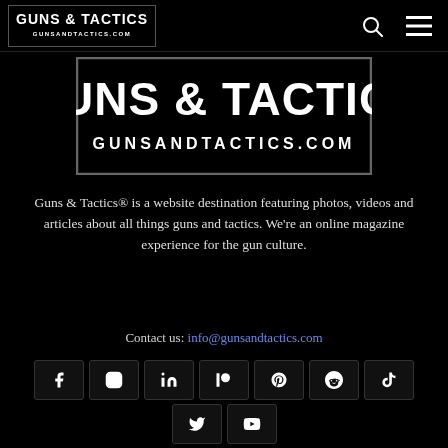Guns & Tactics — gunsandtactics.com (navigation bar with logo, search icon, menu icon)
[Figure (logo): Guns & Tactics logo — GUNS & TACTICS / GUNSANDTACTICS.COM in white bold serif text on black background, inside a rectangular border]
Guns & Tactics® is a website destination featuring photos, videos and articles about all things guns and tactics. We're an online magazine experience for the gun culture.
Contact us: info@gunsandtactics.com
[Figure (infographic): Row of social media icon buttons: Facebook, Instagram, LinkedIn, Patreon, Pinterest, Reddit, TikTok; second row: Twitter, YouTube — all white icons on dark square buttons]